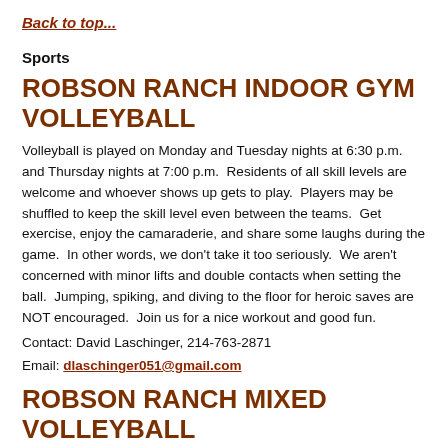Back to top...
Sports
ROBSON RANCH INDOOR GYM VOLLEYBALL
Volleyball is played on Monday and Tuesday nights at 6:30 p.m. and Thursday nights at 7:00 p.m.  Residents of all skill levels are welcome and whoever shows up gets to play.  Players may be shuffled to keep the skill level even between the teams.  Get exercise, enjoy the camaraderie, and share some laughs during the game.  In other words, we don't take it too seriously.  We aren't concerned with minor lifts and double contacts when setting the ball.  Jumping, spiking, and diving to the floor for heroic saves are NOT encouraged.  Join us for a nice workout and good fun.
Contact: David Laschinger, 214-763-2871
Email: dlaschinger051@gmail.com
ROBSON RANCH MIXED VOLLEYBALL